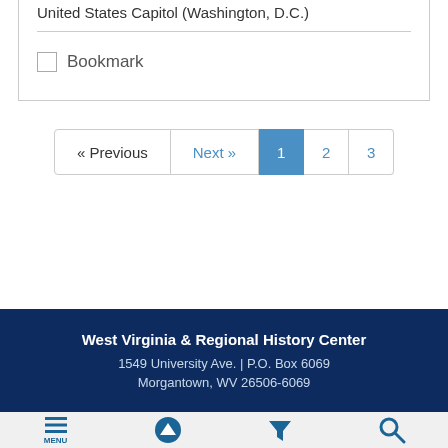United States Capitol (Washington, D.C.)
Bookmark
« Previous  Next »  1  2  3
West Virginia & Regional History Center
1549 University Ave. | P.O. Box 6069
Morgantown, WV 26506-6069
MENU